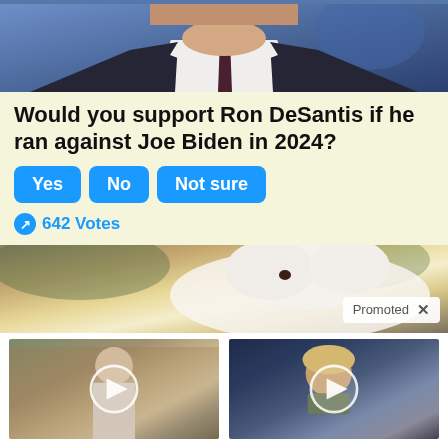[Figure (photo): A man in a dark suit and dark tie against a blue background, cropped to show mainly the torso and lower face]
Would you support Ron DeSantis if he ran against Joe Biden in 2024?
[Figure (infographic): Poll buttons: Yes, No, Not sure in blue rounded rectangles]
642 Votes
[Figure (photo): A fluffy white dog looking at the camera with green foliage in background. A 'Promoted X' badge is shown in lower right.]
[Figure (photo): An older man in a white shirt outdoors with a video play button overlay]
Will This Be The Worst U.S. Crisis Ever?
3,493
[Figure (photo): A woman with blonde hair in a crowd, with a video play button overlay]
Top Democrats Fear This Video Getting Out — Watch Now Before It's Banned
67,566